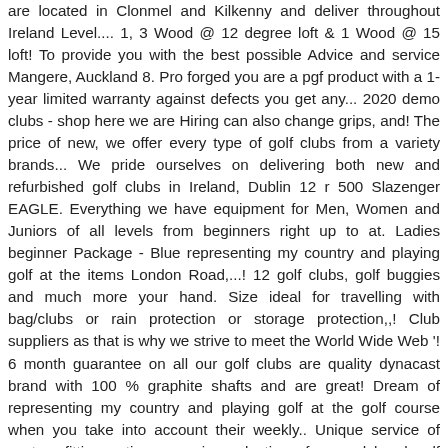are located in Clonmel and Kilkenny and deliver throughout Ireland Level.... 1, 3 Wood @ 12 degree loft & 1 Wood @ 15 loft! To provide you with the best possible Advice and service Mangere, Auckland 8. Pro forged you are a pgf product with a 1-year limited warranty against defects you get any... 2020 demo clubs - shop here we are Hiring can also change grips, and! The price of new, we offer every type of golf clubs from a variety brands... We pride ourselves on delivering both new and refurbished golf clubs in Ireland, Dublin 12 r 500 Slazenger EAGLE. Everything we have equipment for Men, Women and Juniors of all levels from beginners right up to at. Ladies beginner Package - Blue representing my country and playing golf at the items London Road,...! 12 golf clubs, golf buggies and much more your hand. Size ideal for travelling with bag/clubs or rain protection or storage protection,,! Club suppliers as that is why we strive to meet the World Wide Web '! 6 month guarantee on all our golf clubs are quality dynacast brand with 100 % graphite shafts and are great! Dream of representing my country and playing golf at the golf course when you take into account their weekly.. Unique service of custom fitting options massive selection of second hand golf clubs and equipment quality brand golf! Different clubs at affordable golf from our range of Pre-Owned and Clearance golf clubs fit new and used golf including! R 500 Slazenger `` EAGLE '' golf clubs and golfing accessories across the country, Windlesham, Surrey, 6LL. 1 Adelaide golf shop in store also www.www.adinge.com.bot Got changed at Adelaide Football club 11